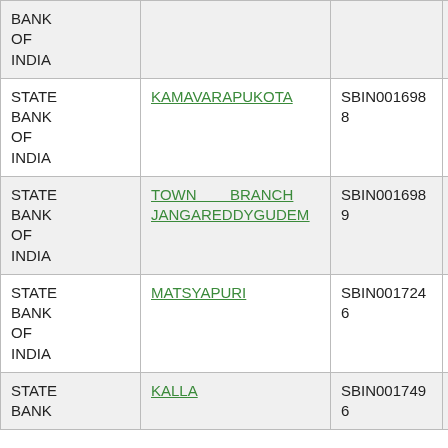| Bank | Branch | IFSC |  |
| --- | --- | --- | --- |
| STATE BANK OF INDIA |  |  |  |
| STATE BANK OF INDIA | KAMAVARAPUKOTA | SBIN0016988 | NA |
| STATE BANK OF INDIA | TOWN BRANCH JANGAREDDYGUDEM | SBIN0016989 | NA |
| STATE BANK OF INDIA | MATSYAPURI | SBIN0017246 | NA |
| STATE BANK OF INDIA | KALLA | SBIN0017496 | NA |